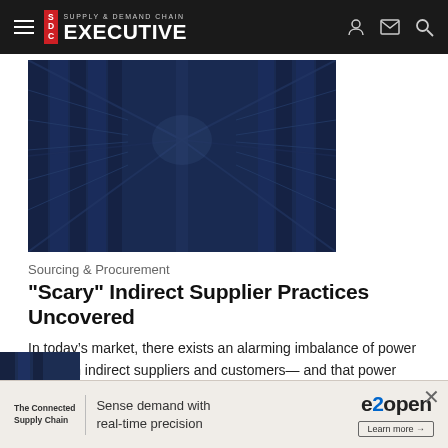SDC Supply & Demand Chain EXECUTIVE
[Figure (photo): Warehouse aisle with tall shelving racks viewed in perspective, dark blue tones]
Sourcing & Procurement
"Scary" Indirect Supplier Practices Uncovered
In today’s market, there exists an alarming imbalance of power between indirect suppliers and customers— and that power imbalance is threatening procurement’s effectiveness.
Fine Tune Expense Management    August 24, 2022
[Figure (infographic): e2open advertisement banner: The Connected Supply Chain - Sense demand with real-time precision - Learn more]
[Figure (photo): Partial bottom image strip showing warehouse or supply chain scene]